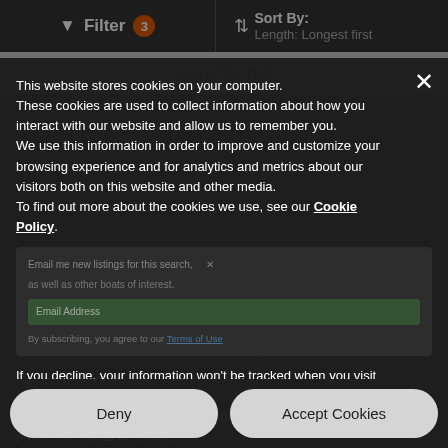Filter 3   Sort By: Length: Longest first
Save Search
This website stores cookies on your computer. These cookies are used to collect information about how you interact with our website and allow us to remember you. We use this information in order to improve and customize your browsing experience and for analytics and metrics about our visitors both on this website and other media. To find out more about the cookies we use, see our Cookie Policy.
By subscribing, you agree to our Terms of Use
If you decline, your information won't be tracked when you visit this website. A single cookie will be used in your browser to remember your preference not to be tracked.
Deny
Accept Cookies